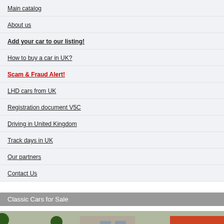Main catalog
About us
Add your car to our listing!
How to buy a car in UK?
Scam & Fraud Alert!
LHD cars from UK
Registration document V5C
Driving in United Kingdom
Track days in UK
Our partners
Contact Us
Classic Cars for Sale
[Figure (photo): Two classic cars photographed outdoors, one with a colorful painted hood and another dark-colored car near a garage building.]